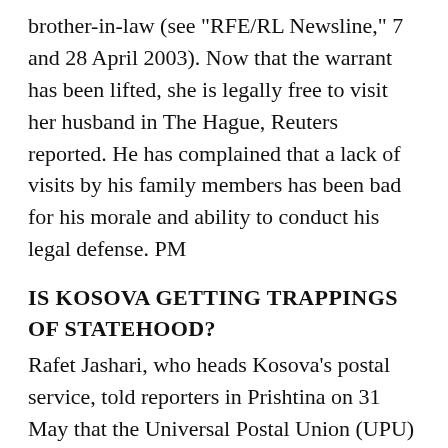brother-in-law (see "RFE/RL Newsline," 7 and 28 April 2003). Now that the warrant has been lifted, she is legally free to visit her husband in The Hague, Reuters reported. He has complained that a lack of visits by his family members has been bad for his morale and ability to conduct his legal defense. PM
IS KOSOVA GETTING TRAPPINGS OF STATEHOOD?
Rafet Jashari, who heads Kosova's postal service, told reporters in Prishtina on 31 May that the Universal Postal Union (UPU) and the UN's civilian administration in Kosova (UNMIK) have approved a new system of 118 postal code numbers for the province, RFE/RL's South Slavic and Albanian Languages Service reported. The system is distinct from that of Serbia and Montenegro and is registered with the UPU as "Kosovo (UNMIK)." Mail